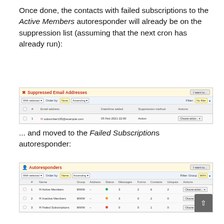Once done, the contacts with failed subscriptions to the Active Members autoresponder will already be on the suppression list (assuming that the next cron has already run):
[Figure (screenshot): Suppressed Email Addresses admin interface showing one suppressed email subscriber105@example.com added 05 Feb 2021 22:00 with suppression method Action]
... and moved to the Failed Subscriptions autoresponder:
[Figure (screenshot): Autoresponders admin interface showing three autoresponders: Active Members (group MWW, 3 messages, 2 forms, 6 contacts, 2 uniques), Inactive Members (group MWW, 3 messages, 0 forms, 2 contacts, 0 uniques), Failed Subscriptions (group MWW, 0 messages, 0 forms, 1 contact, 0 uniques)]